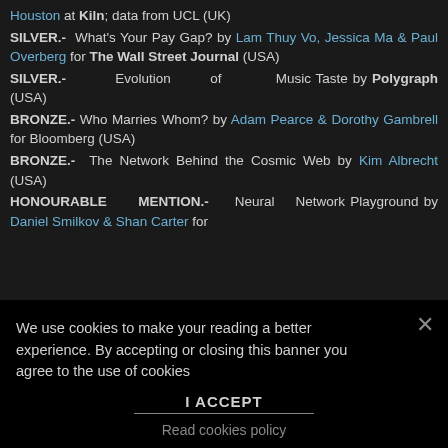Houston at Kiln; data from UCL (UK)
SILVER.- What's Your Pay Gap? by Lam Thuy Vo, Jessica Ma & Paul Overberg for The Wall Street Journal (USA)
SILVER.- Evolution of Music Taste by Polygraph (USA)
BRONZE.- Who Marries Whom? by Adam Pearce & Dorothy Gambrell for Bloomberg (USA)
BRONZE.- The Network Behind the Cosmic Web by Kim Albrecht (USA)
HONOURABLE MENTION.- Neural Network Playground by Daniel Smilkov & Shan Carter for
We use cookies to make your reading a better experience. By accepting or closing this banner you agree to the use of cookies
I ACCEPT
Read cookies policy